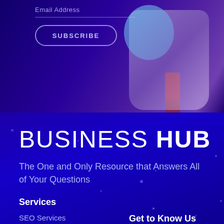[Figure (illustration): Top portion of a website screenshot showing a dark blue/purple background with an email subscription form (Email Address field, SUBSCRIBE button) on the left and an astronaut/robot illustration on the right.]
BUSINESS HUB
The One and Only Resource that Answers All of Your Questions
Services
SEO Services
SMM Services
Content Marketing
Get to Know Us
About Us
Contact Us